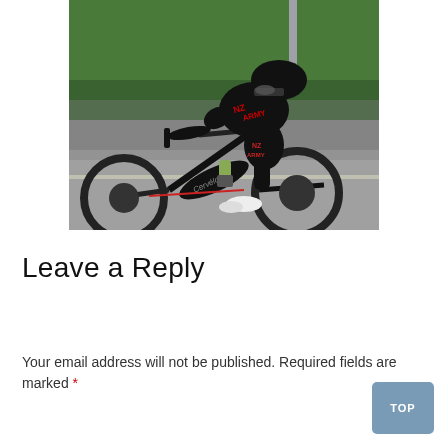[Figure (photo): A cyclist wearing a black NZ Army jersey and helmet, riding a black Cervélo road bike on a road. The rider is in an aerodynamic position. Green trees and vegetation visible in the background.]
Leave a Reply
Your email address will not be published. Required fields are marked *